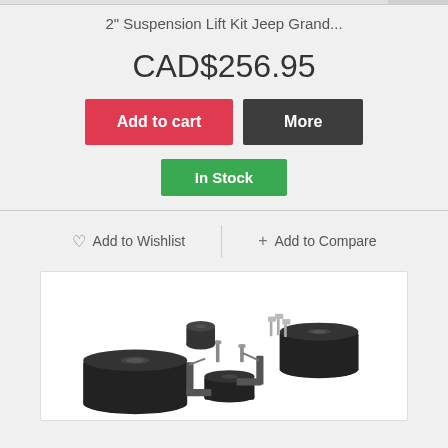2" Suspension Lift Kit Jeep Grand...
CAD$256.95
Add to cart
More
In Stock
♡ Add to Wishlist
+ Add to Compare
[Figure (photo): Photo of a 2-inch suspension lift kit for Jeep Grand Cherokee showing black rubber spacers, brackets, and hardware components laid out on white background]